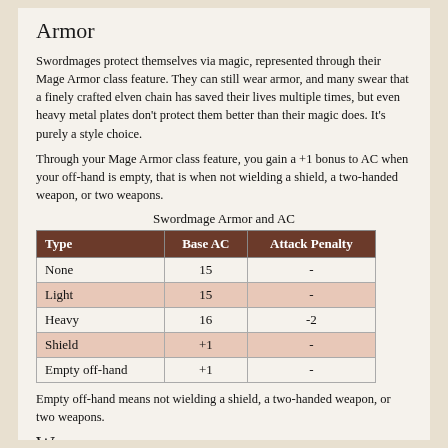Armor
Swordmages protect themselves via magic, represented through their Mage Armor class feature. They can still wear armor, and many swear that a finely crafted elven chain has saved their lives multiple times, but even heavy metal plates don't protect them better than their magic does. It's purely a style choice.
Through your Mage Armor class feature, you gain a +1 bonus to AC when your off-hand is empty, that is when not wielding a shield, a two-handed weapon, or two weapons.
Swordmage Armor and AC
| Type | Base AC | Attack Penalty |
| --- | --- | --- |
| None | 15 | - |
| Light | 15 | - |
| Heavy | 16 | -2 |
| Shield | +1 | - |
| Empty off-hand | +1 | - |
Empty off-hand means not wielding a shield, a two-handed weapon, or two weapons.
Weapons
As the class name already suggests, the signature weapon of a swordmage is a one-handed blade weapon, such as a longsword or scimitar. Rules-